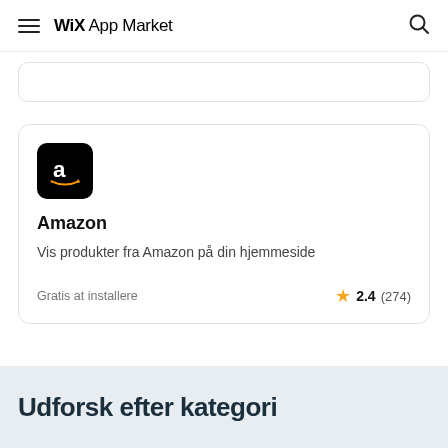WiX App Market
Amazon
Vis produkter fra Amazon på din hjemmeside
Gratis at installere
2.4 (274)
Udforsk efter kategori